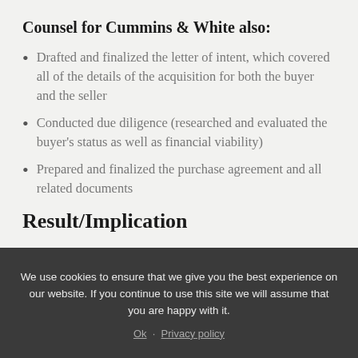Counsel for Cummins & White also:
Drafted and finalized the letter of intent, which covered all of the details of the acquisition for both the buyer and the seller
Conducted due diligence (researched and evaluated the buyer's status as well as financial viability)
Prepared and finalized the purchase agreement and all related documents
Result/Implication
We use cookies to ensure that we give you the best experience on our website. If you continue to use this site we will assume that you are happy with it.
Ok · Privacy policy